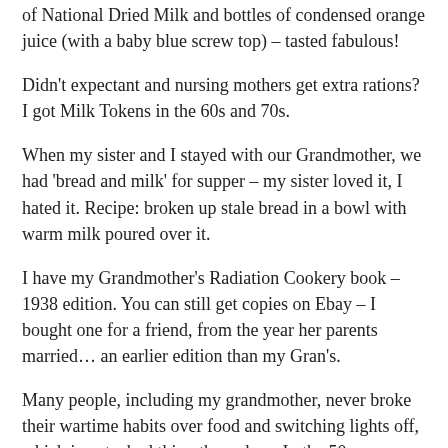of National Dried Milk and bottles of condensed orange juice (with a baby blue screw top) – tasted fabulous!
Didn't expectant and nursing mothers get extra rations? I got Milk Tokens in the 60s and 70s.
When my sister and I stayed with our Grandmother, we had 'bread and milk' for supper – my sister loved it, I hated it. Recipe: broken up stale bread in a bowl with warm milk poured over it.
I have my Grandmother's Radiation Cookery book – 1938 edition. You can still get copies on Ebay – I bought one for a friend, from the year her parents married… an earlier edition than my Gran's.
Many people, including my grandmother, never broke their wartime habits over food and switching lights off, which is not a bad thing these days. In the 50s, my friend's parents were still using sweetened condensed milk, kept in their sideboard, for their cups of tea, even though they had a fresh milk